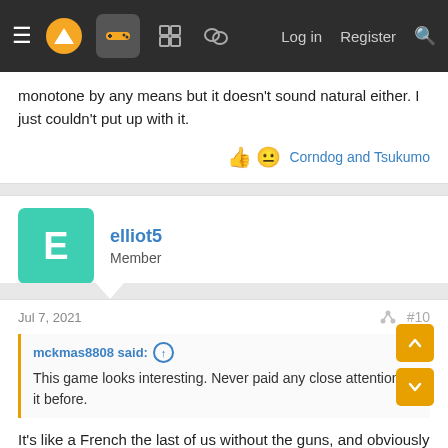Navigation bar with menu, logo, controller icon, forum icons, Log in, Register, Search
monotone by any means but it doesn't sound natural either. I just couldn't put up with it.
Corndog and Tsukumo
elliot5
Member
Jul 7, 2021
#10
mckmas8808 said:
This game looks interesting. Never paid any close attention to it before.
It's like a French the last of us without the guns, and obviously lower budget than naughty dog. Puzzles and stealth and combat are basic, but it has similar item